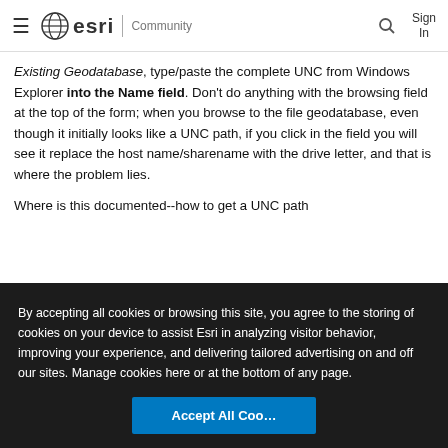esri Community
Existing Geodatabase, type/paste the complete UNC from Windows Explorer into the Name field. Don't do anything with the browsing field at the top of the form; when you browse to the file geodatabase, even though it initially looks like a UNC path, if you click in the field you will see it replace the host name/sharename with the drive letter, and that is where the problem lies.
Where is this documented--how to get a UNC path
By accepting all cookies or browsing this site, you agree to the storing of cookies on your device to assist Esri in analyzing visitor behavior, improving your experience, and delivering tailored advertising on and off our sites. Manage cookies here or at the bottom of any page.